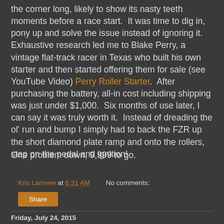quickly in my gut that the starting problem would not skulk in the corner long, likely to show its nasty teeth moments before a race start. It was time to dig in, pony up and solve the issue instead of ignoring it. Exhaustive research led me to Blake Perry, a vintage flat-track racer in Texas who built his own starter and then started offering them for sale (see YouTube Video) Perry Roller Starter. After purchasing the battery, all-in cost including shipping was just under $1,000. Six months of use later, I can say it was truly worth it. Instead of dreading the ol' run and bump I simply had to back the FZR up the short diamond plate ramp and onto the rollers, step on the pedal and ignition!
One problem down, 9,999 to go.
Kris Larrivee at 6:31 AM   No comments:
Share
Friday, July 24, 2015
How Much Longer?